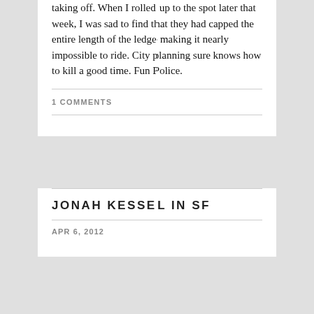taking off. When I rolled up to the spot later that week, I was sad to find that they had capped the entire length of the ledge making it nearly impossible to ride. City planning sure knows how to kill a good time. Fun Police.
1 COMMENTS
JONAH KESSEL IN SF
APR 6, 2012